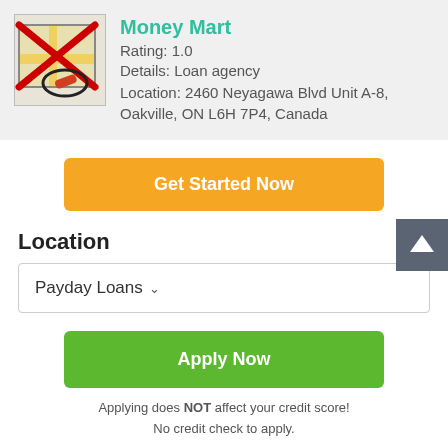[Figure (screenshot): Money Mart business listing card with a map/location icon crossed out with a red X and a red circle highlight, shown on a light gray background. Shows business name, rating, details, and location.]
Money Mart
Rating: 1.0
Details: Loan agency
Location: 2460 Neyagawa Blvd Unit A-8, Oakville, ON L6H 7P4, Canada
Get Started Now
Location
Payday Loans
Apply Now
Applying does NOT affect your credit score!
No credit check to apply.